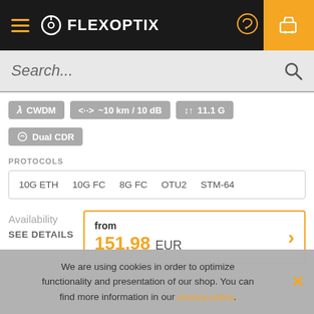FLEXOPTIX
Search...
λ CWDM
<··> ~10 km / 10 dB
↕↑ 11.1 G
Dual CDR
PROTOCOLS
10G ETH   10G FC   8G FC   OTU2   STM-64
Availability
SEE DETAILS
from 151.98 EUR
We are using cookies in order to optimize functionality and presentation of our shop. You can find more information in our privacy policy.